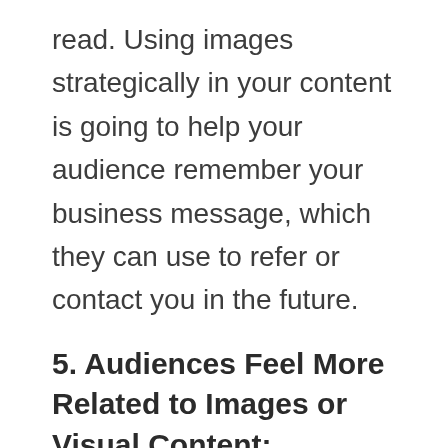read. Using images strategically in your content is going to help your audience remember your business message, which they can use to refer or contact you in the future.
5. Audiences Feel More Related to Images or Visual Content:
One great aspect of including images in your content and social media posts is that it can make your content more relatable. People prefer buying from